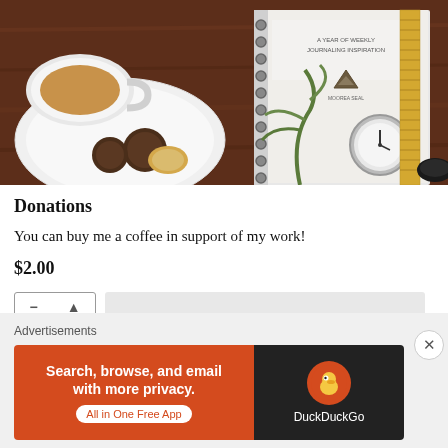[Figure (photo): A flatlay photo showing a cup of coffee with cookies on a white plate, and a spiral-bound journal titled 'A Year of Weekly Journaling Inspiration' by MOOREA SEAL, alongside a plant, ruler, and clock on a dark wooden surface.]
Donations
You can buy me a coffee in support of my work!
$2.00
Advertisements
[Figure (screenshot): DuckDuckGo advertisement banner with orange background on the left reading 'Search, browse, and email with more privacy. All in One Free App' and DuckDuckGo logo on dark background on the right.]